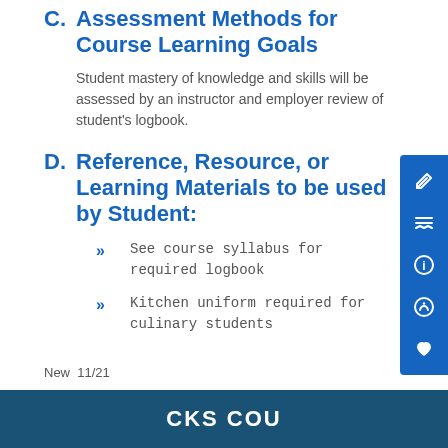C.  Assessment Methods for Course Learning Goals
Student mastery of knowledge and skills will be assessed by an instructor and employer review of student's logbook.
D.  Reference, Resource, or Learning Materials to be used by Student:
See course syllabus for required logbook
Kitchen uniform required for culinary students
New  11/21
CKS COU